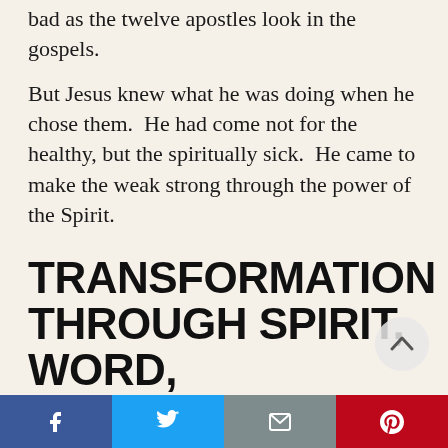bad as the twelve apostles look in the gospels.
But Jesus knew what he was doing when he chose them.  He had come not for the healthy, but the spiritually sick.  He came to make the weak strong through the power of the Spirit.
TRANSFORMATION THROUGH SPIRIT, WORD, SACRAMENT